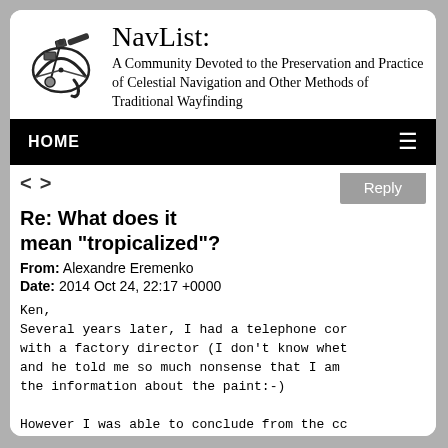[Figure (logo): NavList sextant logo — black and white illustration of a sextant]
NavList:
A Community Devoted to the Preservation and Practice of Celestial Navigation and Other Methods of Traditional Wayfinding
HOME ≡
< >   Reply
Re: What does it mean "tropicalized"?
From: Alexandre Eremenko
Date: 2014 Oct 24, 22:17 +0000
Ken,
Several years later, I had a telephone cor
with a factory director (I don't know whet
and he told me so much nonsense that I am
the information about the paint:-)

However I was able to conclude from the cc